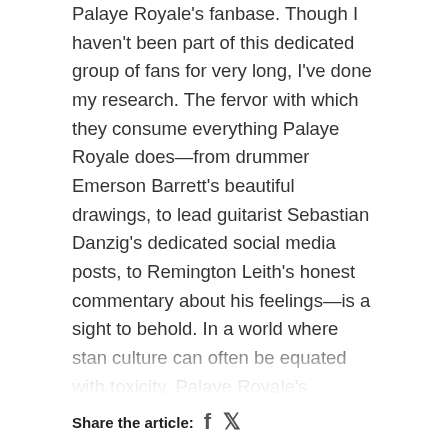Palaye Royale's fanbase. Though I haven't been part of this dedicated group of fans for very long, I've done my research. The fervor with which they consume everything Palaye Royale does—from drummer Emerson Barrett's beautiful drawings, to lead guitarist Sebastian Danzig's dedicated social media posts, to Remington Leith's honest commentary about his feelings—is a sight to behold. In a world where stan culture can often be equated with toxicity, Palaye Royale's fanbase proves that there are still pockets of positivity amidst the negative waves that often wash over our daily lives. Not only do the fans lift each other up, but they're lifted up by the band as well. Sometimes quite literally. When I saw Palaye Royale at the House of Blues, Remington stopped the show at one point to ensure that a fan was safely removed from the pit area after witnessing their distress from the stage. The whole crowd fell silent as he called on security guards to help—he commanded the moment with a sense of dedicated compassion that I hadn't really witnessed at a live event before.
Share the article: [facebook] [twitter]